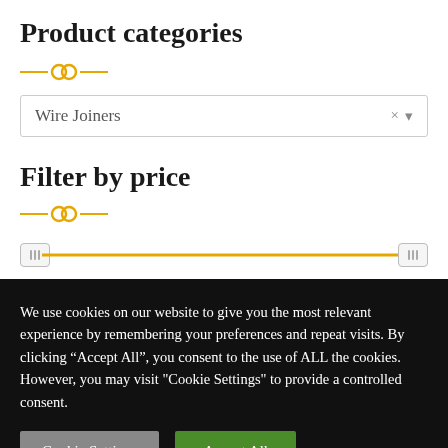Product categories
Wire Joiners
Filter by price
[Figure (other): Price range slider with two handles on a yellow track]
We use cookies on our website to give you the most relevant experience by remembering your preferences and repeat visits. By clicking “Accept All”, you consent to the use of ALL the cookies. However, you may visit "Cookie Settings" to provide a controlled consent.
Cookie Settings
Accept All